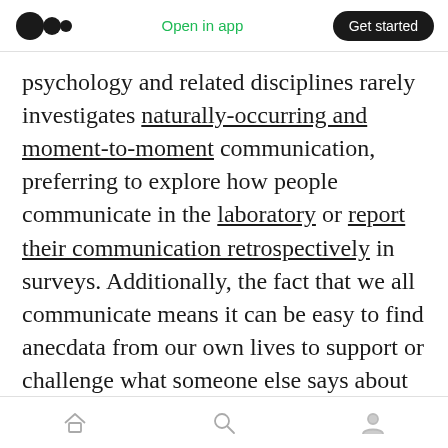Open in app | Get started
psychology and related disciplines rarely investigates naturally-occurring and moment-to-moment communication, preferring to explore how people communicate in the laboratory or report their communication retrospectively in surveys. Additionally, the fact that we all communicate means it can be easy to find anecdata from our own lives to support or challenge what someone else says about how communication works — which may be correct for them but not actually generalizable.
One assumption that is often shared by the
home | search | profile